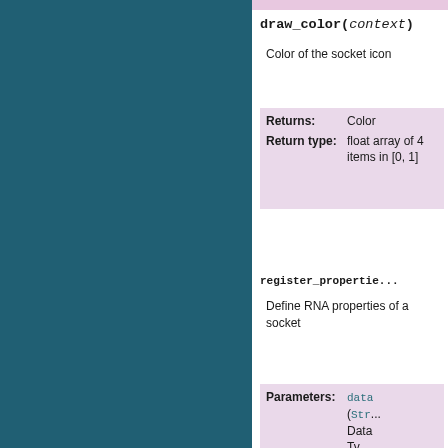draw_color(context)
Color of the socket icon
|  |  |
| --- | --- |
| Returns: | Color |
| Return type: | float array of 4 items in [0, 1] |
register_properties(...)
Define RNA properties of a socket
|  |  |
| --- | --- |
| Parameters: | data (Str...) Data Type... |